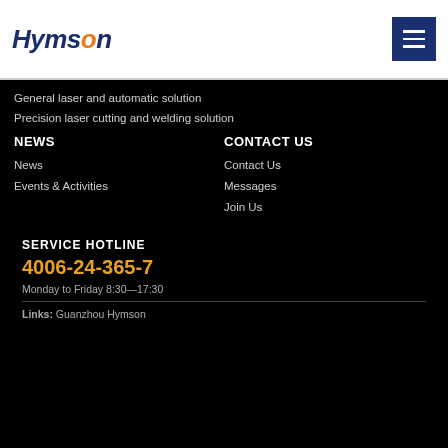Hymson logo and hamburger menu
General laser and automatic solution
Precision laser cutting and welding solution
NEWS
CONTACT US
News
Contact Us
Events & Activities
Messages
Join Us
SERVICE HOTLINE
4006-24-365-7
Monday to Friday 8:30—17:30
Links: Guanzhou Hymson